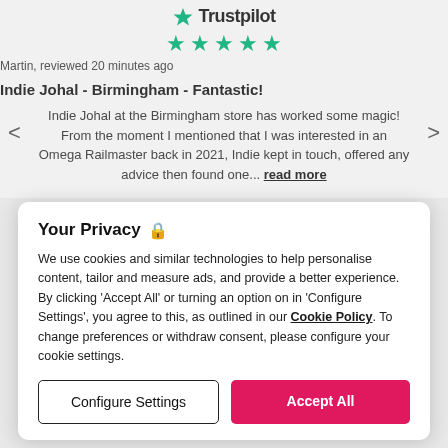[Figure (logo): Trustpilot logo with green star and wordmark]
[Figure (other): Five green star rating]
Martin, reviewed 20 minutes ago
Indie Johal - Birmingham - Fantastic!
Indie Johal at the Birmingham store has worked some magic! From the moment I mentioned that I was interested in an Omega Railmaster back in 2021, Indie kept in touch, offered any advice then found one... read more
Your Privacy
We use cookies and similar technologies to help personalise content, tailor and measure ads, and provide a better experience. By clicking 'Accept All' or turning an option on in 'Configure Settings', you agree to this, as outlined in our Cookie Policy. To change preferences or withdraw consent, please configure your cookie settings.
Configure Settings
Accept All